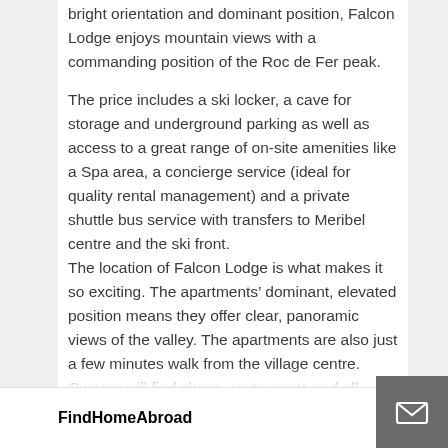bright orientation and dominant position, Falcon Lodge enjoys mountain views with a commanding position of the Roc de Fer peak.
The price includes a ski locker, a cave for storage and underground parking as well as access to a great range of on-site amenities like a Spa area, a concierge service (ideal for quality rental management) and a private shuttle bus service with transfers to Meribel centre and the ski front.
The location of Falcon Lodge is what makes it so exciting. The apartments’ dominant, elevated position means they offer clear, panoramic views of the valley. The apartments are also just a few minutes walk from the village centre. Owners will find shops, restaurants and all amenities just 600m away. Last but not least, a private ski bus exclusive to the residence will bring owners to the Rond Point des Pistes area and the rest
FindHomeAbroad